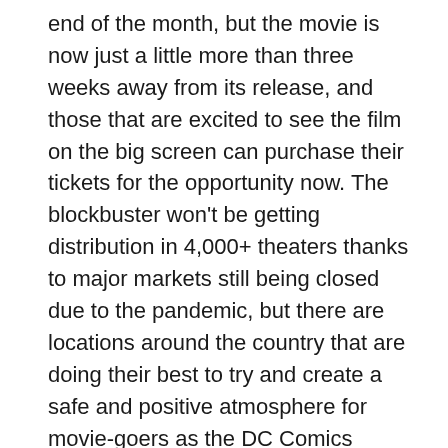end of the month, but the movie is now just a little more than three weeks away from its release, and those that are excited to see the film on the big screen can purchase their tickets for the opportunity now. The blockbuster won't be getting distribution in 4,000+ theaters thanks to major markets still being closed due to the pandemic, but there are locations around the country that are doing their best to try and create a safe and positive atmosphere for movie-goers as the DC Comics sequel is finally getting showtimes, and Gal Gadot is urging fans to check them out.
It was back in September that we first learned that Warner Bros. was moving the blockbuster to Christmas Day, though at the time of that announcement the plan was for Wonder Woman